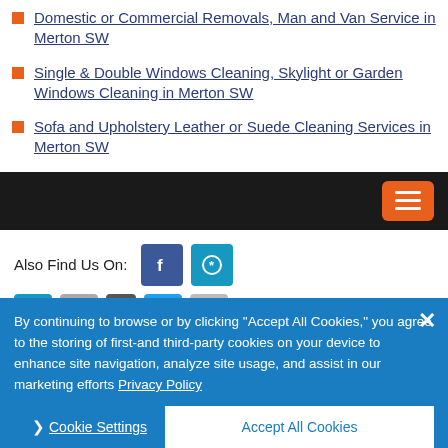Domestic or Commercial Removals, Man and Van Service in Merton SW
Single & Double Windows Cleaning, Skylight or Garden Windows Cleaning in Merton SW
Sofa and Upholstery Leather or Suede Cleaning Services in Merton SW
[Figure (screenshot): Dark navigation bar with orange hamburger menu button on right]
Also Find Us On:
[Figure (logo): Facebook and Yelp social media icons]
[Figure (screenshot): Partial row of additional social/directory icons]
By continuing to browse or by clicking "Accept All Cookies," you agree to the storing of first-and third-party cookies on your device to enhance site navigation, analyze site usage, and assist in our marketing efforts Privacy Policy
Cookie Settings    Accept All Cookies